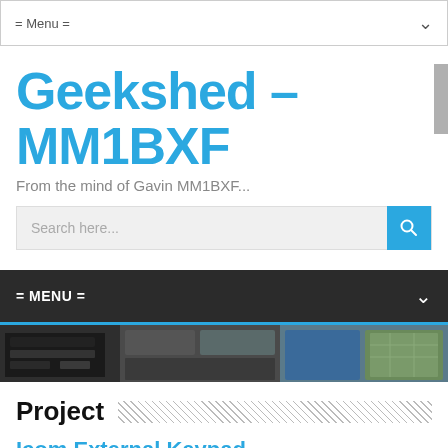= Menu =
Geekshed – MM1BXF
From the mind of Gavin MM1BXF...
Search here...
= MENU =
[Figure (photo): Ham radio equipment and screens on a desk]
Project
Icom External Keypad
m1bxf | February 8, 2017 | 1 Comment